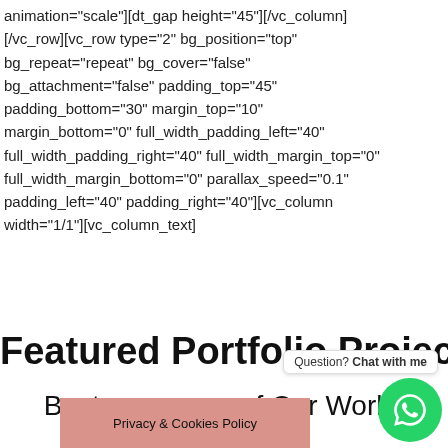animation="scale"][dt_gap height="45"][/vc_column][/vc_row][vc_row type="2" bg_position="top" bg_repeat="repeat" bg_cover="false" bg_attachment="false" padding_top="45" padding_bottom="30" margin_top="10" margin_bottom="0" full_width_padding_left="40" full_width_padding_right="40" full_width_margin_top="0" full_width_margin_bottom="0" parallax_speed="0.1" padding_left="40" padding_right="40"][vc_column width="1/1"][vc_column_text]
Featured Portfolio Projects
Best of Our Works